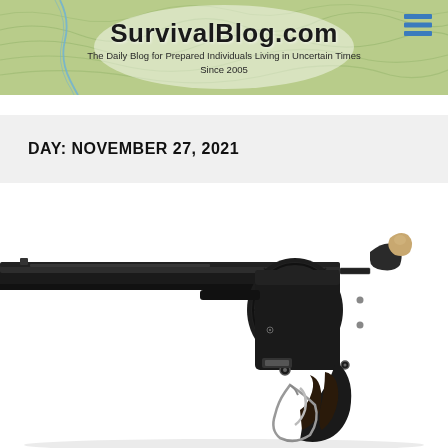SurvivalBlog.com
The Daily Blog for Prepared Individuals Living in Uncertain Times
Since 2005
DAY: NOVEMBER 27, 2021
[Figure (photo): Close-up photograph of a black revolver handgun showing the barrel, cylinder, and action mechanism against a white background]